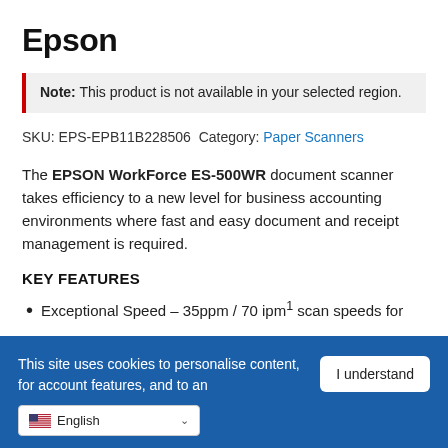Epson
Note: This product is not available in your selected region.
SKU: EPS-EPB11B228506 Category: Paper Scanners
The EPSON WorkForce ES-500WR document scanner takes efficiency to a new level for business accounting environments where fast and easy document and receipt management is required.
KEY FEATURES
Exceptional Speed – 35ppm / 70 ipm¹ scan speeds for
This site uses cookies to personalise content, for account features, and to an...